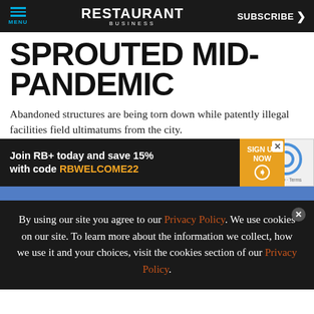MENU | RESTAURANT BUSINESS | SUBSCRIBE >
SPROUTED MID-PANDEMIC
Abandoned structures are being torn down while patently illegal facilities field ultimatums from the city.
By Pete R... | Aug 18, 2022
[Figure (screenshot): Advertisement banner: Join RB+ today and save 15% with code RBWELCOME22 | SIGN UP NOW button]
By using our site you agree to our Privacy Policy. We use cookies on our site. To learn more about the information we collect, how we use it and your choices, visit the cookies section of our Privacy Policy.